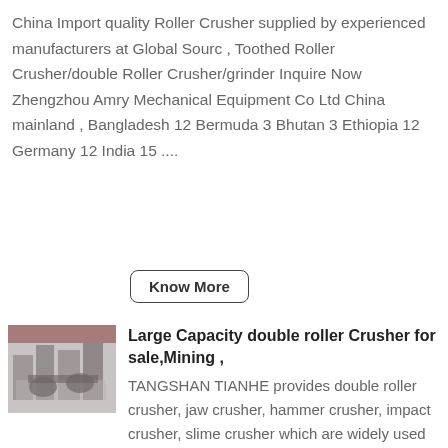China Import quality Roller Crusher supplied by experienced manufacturers at Global Sourc , Toothed Roller Crusher/double Roller Crusher/grinder Inquire Now Zhengzhou Amry Mechanical Equipment Co Ltd China mainland , Bangladesh 12 Bermuda 3 Bhutan 3 Ethiopia 12 Germany 12 India 15 ....
Know More
[Figure (photo): Photo of large industrial roller crusher equipment in a factory setting]
Large Capacity double roller Crusher for sale,Mining ,
TANGSHAN TIANHE provides double roller crusher, jaw crusher, hammer crusher, impact crusher, slime crusher which are widely used for the primary,